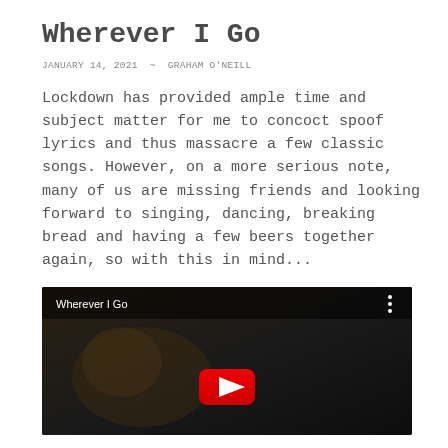Wherever I Go
JANUARY 14, 2021  ~  GRAHAM O'NEILL
Lockdown has provided ample time and subject matter for me to concoct spoof lyrics and thus massacre a few classic songs. However, on a more serious note, many of us are missing friends and looking forward to singing, dancing, breaking bread and having a few beers together again, so with this in mind...
[Figure (screenshot): YouTube video thumbnail showing 'Wherever I Go' with a dark background, video title bar at top, three-dot menu, and a YouTube play button (red circle with white triangle) visible at the bottom center of the thumbnail.]